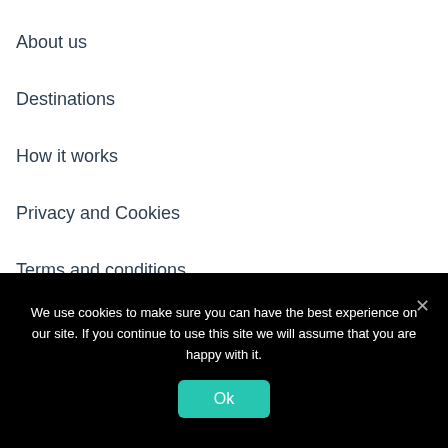About us
Destinations
How it works
Privacy and Cookies
Terms and conditions
USEFUL PAGES
We use cookies to make sure you can have the best experience on our site. If you continue to use this site we will assume that you are happy with it.